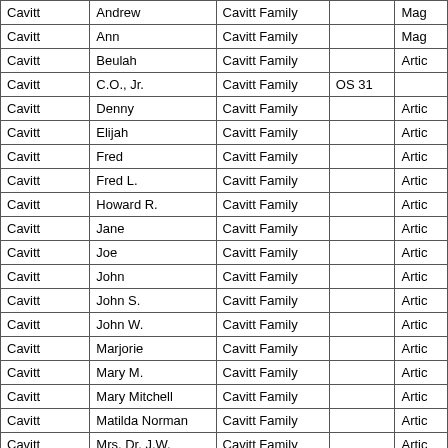| Last Name | First Name | Family/Collection | Call No. | Type |
| --- | --- | --- | --- | --- |
| Cavitt | Andrew | Cavitt Family |  | Mag |
| Cavitt | Ann | Cavitt Family |  | Mag |
| Cavitt | Beulah | Cavitt Family |  | Artic |
| Cavitt | C.O., Jr. | Cavitt Family | OS 31 |  |
| Cavitt | Denny | Cavitt Family |  | Artic |
| Cavitt | Elijah | Cavitt Family |  | Artic |
| Cavitt | Fred | Cavitt Family |  | Artic |
| Cavitt | Fred L. | Cavitt Family |  | Artic |
| Cavitt | Howard R. | Cavitt Family |  | Artic |
| Cavitt | Jane | Cavitt Family |  | Artic |
| Cavitt | Joe | Cavitt Family |  | Artic |
| Cavitt | John | Cavitt Family |  | Artic |
| Cavitt | John S. | Cavitt Family |  | Artic |
| Cavitt | John W. | Cavitt Family |  | Artic |
| Cavitt | Marjorie | Cavitt Family |  | Artic |
| Cavitt | Mary M. | Cavitt Family |  | Artic |
| Cavitt | Mary Mitchell | Cavitt Family |  | Artic |
| Cavitt | Matilda Norman | Cavitt Family |  | Artic |
| Cavitt | Mrs. Dr. J.W. | Cavitt Family |  | Artic |
| Cavitt | S.E. | Cavitt Family |  | Artic |
| Cavitt | Sarah Griffin | Cavitt Family |  | Artic |
| Cavitt | Sheridan H. | Cavitt Family |  | Artic |
| Cavitt | Sheridan H. | Cavitt Family |  | Artic |
| Cavitt | Volney | Cavitt Family |  | Artic |